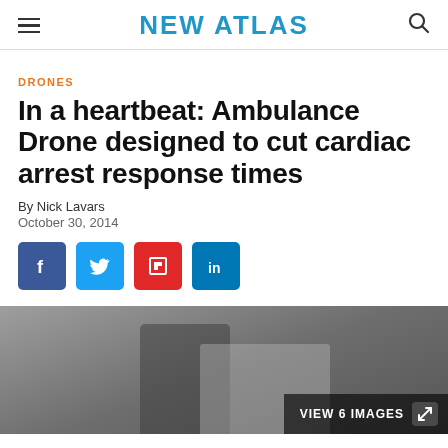NEW ATLAS
DRONES
In a heartbeat: Ambulance Drone designed to cut cardiac arrest response times
By Nick Lavars
October 30, 2014
[Figure (other): Social share buttons: Facebook, Twitter, Flipboard, LinkedIn]
[Figure (photo): Photo showing a person performing CPR or first aid on another person lying down, with a VIEW 6 IMAGES overlay button in the bottom right corner]